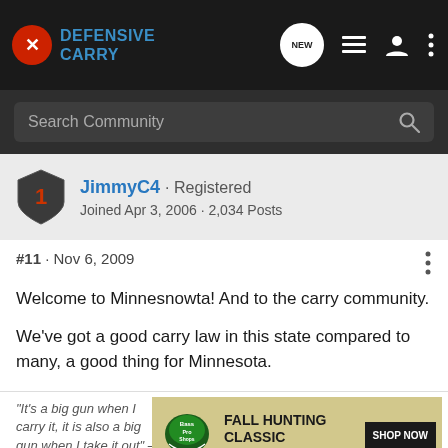Defensive Carry
Search Community
JimmyC4 · Registered
Joined Apr 3, 2006 · 2,034 Posts
#11 · Nov 6, 2009
Welcome to Minnesnowta! And to the carry community.
We've got a good carry law in this state compared to many, a good thing for Minnesota.
"It's a big gun when I carry it, it is also a big gun when I take it out" – Clint Smith
[Figure (other): Bass Pro Shops Fall Hunting Classic advertisement: Save up to 30%, Shop Now button]